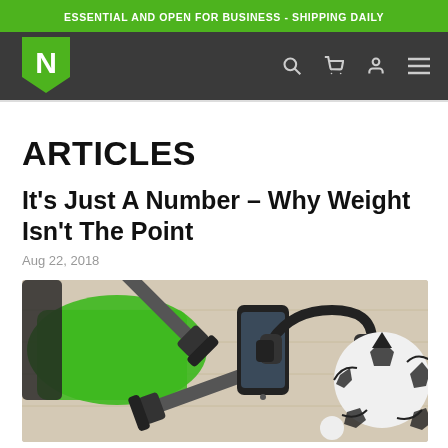ESSENTIAL AND OPEN FOR BUSINESS - SHIPPING DAILY
[Figure (logo): Green leaf-shaped logo with white letter N on dark navigation bar with search, cart, user, and menu icons]
ARTICLES
It’s Just A Number – Why Weight Isn’t The Point
Aug 22, 2018
[Figure (photo): Flat lay of sports equipment on wooden surface: dumbbells, green sports jersey, smartphone, headphones, and soccer ball]